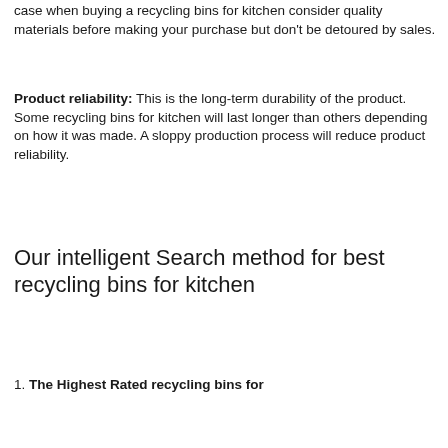case when buying a recycling bins for kitchen consider quality materials before making your purchase but don't be detoured by sales.
Product reliability: This is the long-term durability of the product. Some recycling bins for kitchen will last longer than others depending on how it was made. A sloppy production process will reduce product reliability.
Our intelligent Search method for best recycling bins for kitchen
1. The Highest Rated recycling bins for